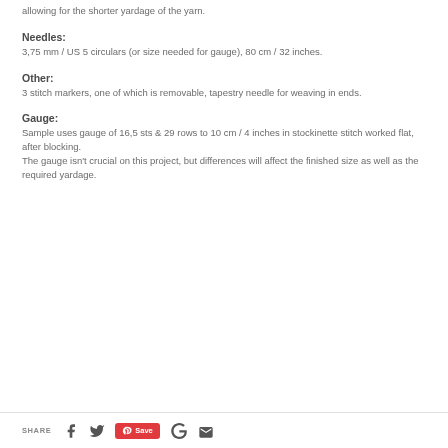allowing for the shorter yardage of the yarn.
Needles:
3,75 mm / US 5 circulars (or size needed for gauge), 80 cm / 32 inches.
Other:
3 stitch markers, one of which is removable, tapestry needle for weaving in ends.
Gauge:
Sample uses gauge of 16,5 sts & 29 rows to 10 cm / 4 inches in stockinette stitch worked flat, after blocking.
The gauge isn't crucial on this project, but differences will affect the finished size as well as the required yardage.
SHARE